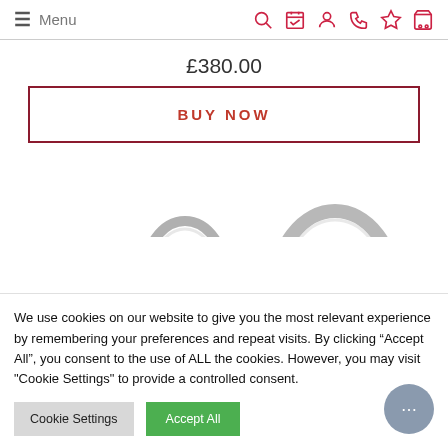≡ Menu
£380.00
BUY NOW
[Figure (photo): Two silver rings partially visible at the bottom of the page]
We use cookies on our website to give you the most relevant experience by remembering your preferences and repeat visits. By clicking "Accept All", you consent to the use of ALL the cookies. However, you may visit "Cookie Settings" to provide a controlled consent.
Cookie Settings
Accept All